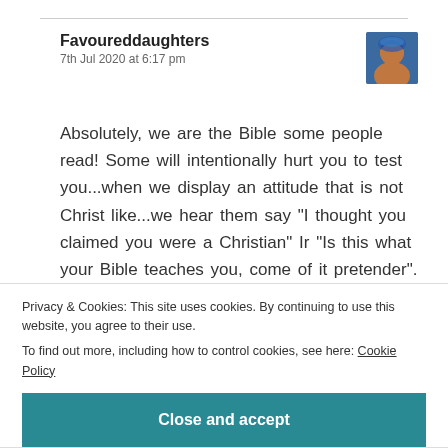Favoureddaughters
7th Jul 2020 at 6:17 pm
[Figure (photo): Avatar photo of Favoureddaughters, a woman wearing a colorful head wrap]
Absolutely, we are the Bible some people read! Some will intentionally hurt you to test you...when we display an attitude that is not Christ like...we hear them say "I thought you claimed you were a Christian" Ir "Is this what your Bible teaches you, come of it pretender". May God help us all. Thanks for
Privacy & Cookies: This site uses cookies. By continuing to use this website, you agree to their use.
To find out more, including how to control cookies, see here: Cookie Policy
Close and accept